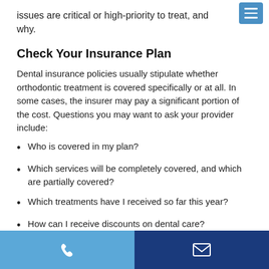issues are critical or high-priority to treat, and why.
Check Your Insurance Plan
Dental insurance policies usually stipulate whether orthodontic treatment is covered specifically or at all. In some cases, the insurer may pay a significant portion of the cost. Questions you may want to ask your provider include:
Who is covered in my plan?
Which services will be completely covered, and which are partially covered?
Which treatments have I received so far this year?
How can I receive discounts on dental care?
Look for Dental Savings Plans
Have a bare-bones insurance plan (or none at all)? A dental
Phone | Email